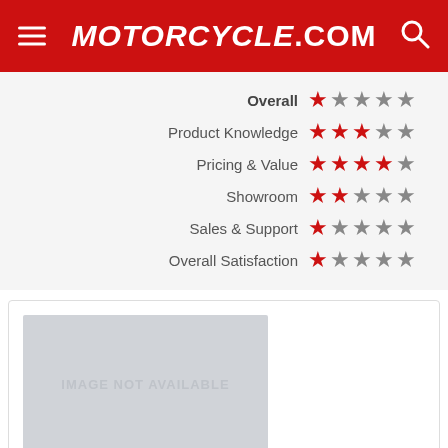Motorcycle.com
| Category | Rating (out of 5) |
| --- | --- |
| Overall | 1 star filled, 4 gray |
| Product Knowledge | 2 stars filled, 3 gray |
| Pricing & Value | 3 stars filled, 2 gray |
| Showroom | 2 stars filled, 3 gray |
| Sales & Support | 1 star filled, 4 gray |
| Overall Satisfaction | 1 star filled, 4 gray |
[Figure (photo): Image not available placeholder for dealer]
3911 HWY 67 N
Polar Bluff, Missouri
63901